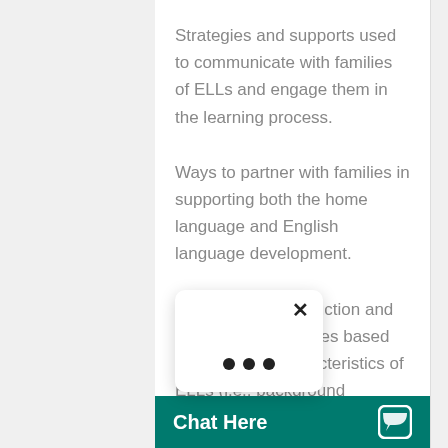Strategies and supports used to communicate with families of ELLs and engage them in the learning process.
Ways to partner with families in supporting both the home language and English language development.
Individualized instruction and assessment practices based on academic characteristics of ELLs (i.e., background knowledge, educational history, and current performance… and communicating needs with…
Effective ins… personal ch…